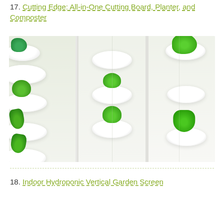17. Cutting Edge: All-in-One Cutting Board, Planter, and Composter
[Figure (photo): Three-panel photograph of a white wall-mounted vertical hydroponic garden system featuring white oval pod-shaped planters with green plants growing from them, shown from different angles]
18. Indoor Hydroponic Vertical Garden Screen